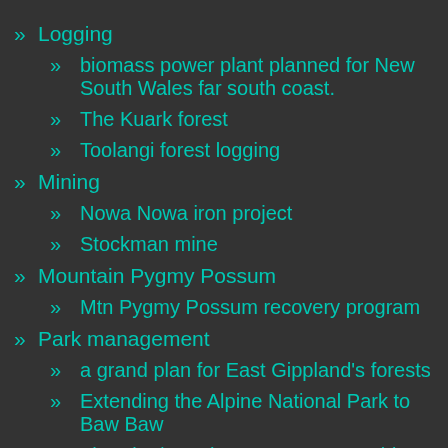» Logging
» biomass power plant planned for New South Wales far south coast.
» The Kuark forest
» Toolangi forest logging
» Mining
» Nowa Nowa iron project
» Stockman mine
» Mountain Pygmy Possum
» Mtn Pygmy Possum recovery program
» Park management
» a grand plan for East Gippland's forests
» Extending the Alpine National Park to Baw Baw
» The Alps/ South East Forests World Heritage nomination proposal